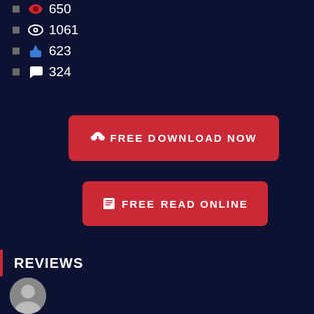656
1061
623
324
FREE DOWNLOAD NOW
FREE READ ONLINE
REVIEWS